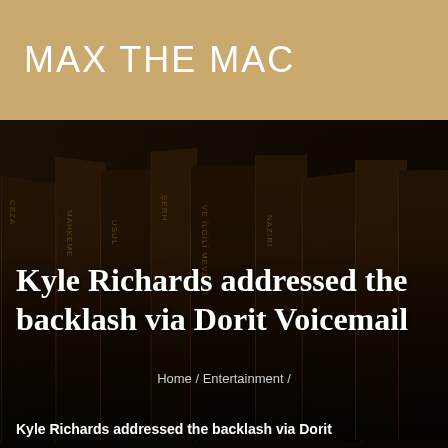MAX THE MAC
[Figure (photo): Dark background showing stacked law books with gold lettering on spines, partially visible Turkish legal text on book spines]
Kyle Richards addressed the backlash via Dorit Voicemail
Home / Entertainment /
Kyle Richards addressed the backlash via Dorit